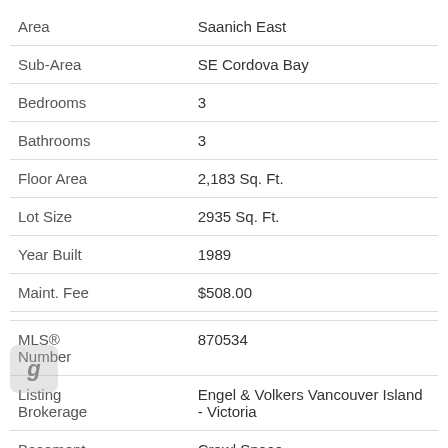| Field | Value |
| --- | --- |
| Area | Saanich East |
| Sub-Area | SE Cordova Bay |
| Bedrooms | 3 |
| Bathrooms | 3 |
| Floor Area | 2,183 Sq. Ft. |
| Lot Size | 2935 Sq. Ft. |
| Year Built | 1989 |
| Maint. Fee | $508.00 |
| MLS® Number | 870534 |
| Listing Brokerage | Engel & Volkers Vancouver Island - Victoria |
| Basement | Crawl Space |